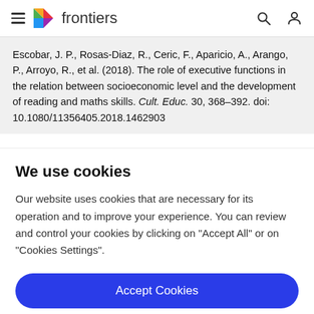frontiers
Escobar, J. P., Rosas-Diaz, R., Ceric, F., Aparicio, A., Arango, P., Arroyo, R., et al. (2018). The role of executive functions in the relation between socioeconomic level and the development of reading and maths skills. Cult. Educ. 30, 368–392. doi: 10.1080/11356405.2018.1462903
We use cookies
Our website uses cookies that are necessary for its operation and to improve your experience. You can review and control your cookies by clicking on "Accept All" or on "Cookies Settings".
Accept Cookies
Cookies Settings